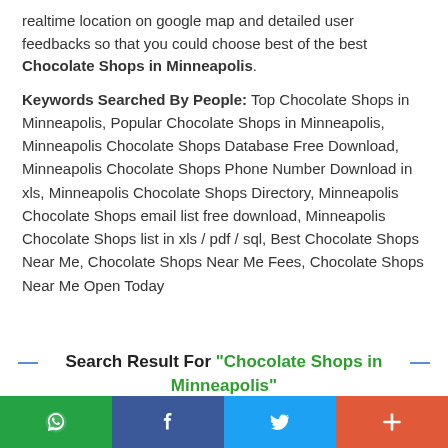realtime location on google map and detailed user feedbacks so that you could choose best of the best Chocolate Shops in Minneapolis.
Keywords Searched By People: Top Chocolate Shops in Minneapolis, Popular Chocolate Shops in Minneapolis, Minneapolis Chocolate Shops Database Free Download, Minneapolis Chocolate Shops Phone Number Download in xls, Minneapolis Chocolate Shops Directory, Minneapolis Chocolate Shops email list free download, Minneapolis Chocolate Shops list in xls / pdf / sql, Best Chocolate Shops Near Me, Chocolate Shops Near Me Fees, Chocolate Shops Near Me Open Today
Search Result For "Chocolate Shops in Minneapolis"